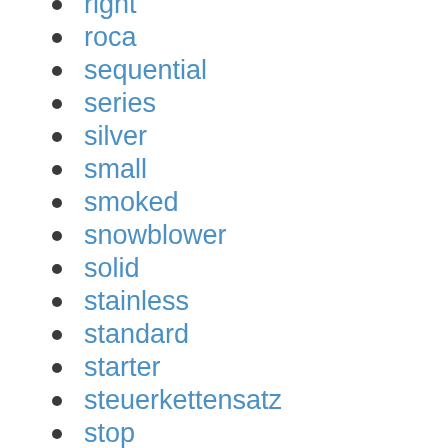right
roca
sequential
series
silver
small
smoked
snowblower
solid
stainless
standard
starter
steuerkettensatz
stop
style
super
swap
swapped
t04b
tecumseh
tesla
timing